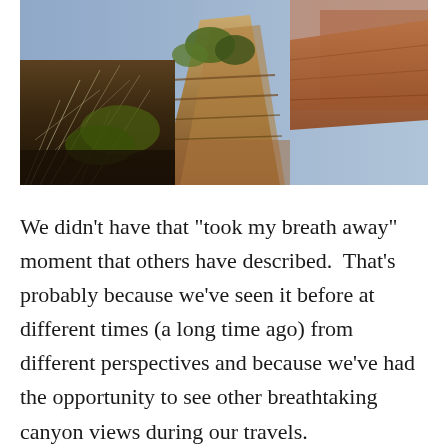[Figure (photo): Photograph of a canyon landscape, likely the Grand Canyon, showing layered sandstone rock formations with sparse vegetation in the foreground and reddish-brown canyon walls and mesas in the background under bright sunlight.]
We didn't have that "took my breath away" moment that others have described.  That's probably because we've seen it before at different times (a long time ago) from different perspectives and because we've had the opportunity to see other breathtaking canyon views during our travels.